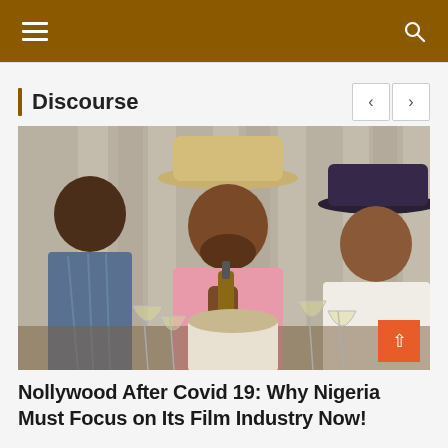Discourse
[Figure (photo): Three people seated at a table: a man in a patterned shirt on the left, a man in a pink shirt and tan hat in the center holding a bottle, and a woman in a white outfit and dark hat on the right. Champagne glasses on the table. Curtains in background.]
Nollywood After Covid 19: Why Nigeria Must Focus on Its Film Industry Now!